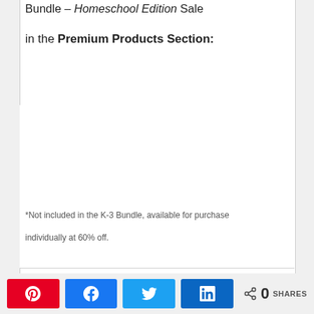Bundle – Homeschool Edition Sale
in the Premium Products Section:
[Figure (other): Large blank white content area with horizontal divider lines, representing a product listing or image placeholder region]
*Not included in the K-3 Bundle, available for purchase
individually at 60% off.
Share buttons: Pinterest, Facebook, Twitter, LinkedIn. 0 SHARES